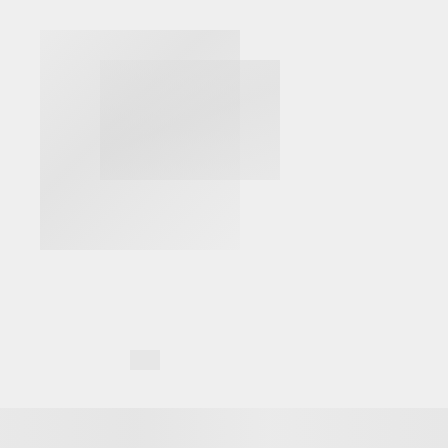[Figure (photo): Mostly blank/white page with very faint, barely visible ghosted image content in the upper-left area and a faint strip at the bottom. The page appears to be a near-blank or heavily faded document scan.]